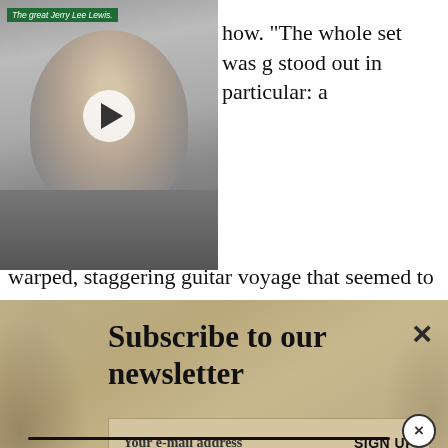[Figure (photo): Black and white video thumbnail of Jerry Lee Lewis smiling with a play button overlay, labeled 'The great Jerry Lee Lewis.']
how. “The whole set was g stood out in particular: a warped, staggering guitar voyage that seemed to
[Figure (screenshot): Newsletter subscription widget with tan/sandy background. Title: 'Subscribe to our newsletter'. Email input field with placeholder 'Your e-mail address' and 'SIGN UP' button. Close X button top right.]
“Looming to unholy crescendos, then, devastatingly, snatching them away. Evaporating into a silken heat haze to rematerialise again out of the effervescence, and more entrancing each time.